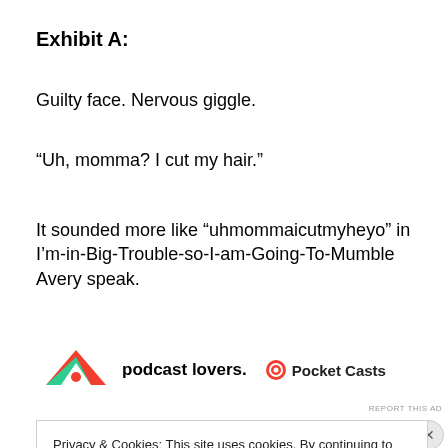Exhibit A:
Guilty face. Nervous giggle.
“Uh, momma? I cut my hair.”
It sounded more like “uhmommaicutmyheyo” in I’m-in-Big-Trouble-so-I-am-Going-To-Mumble Avery speak.
[Figure (logo): Advertisement banner for Pocket Casts podcast app showing logo and text 'podcast lovers.']
REPORT THIS AD
Privacy & Cookies: This site uses cookies. By continuing to use this website, you agree to their use.
To find out more, including how to control cookies, see here: Cookie Policy
Close and accept